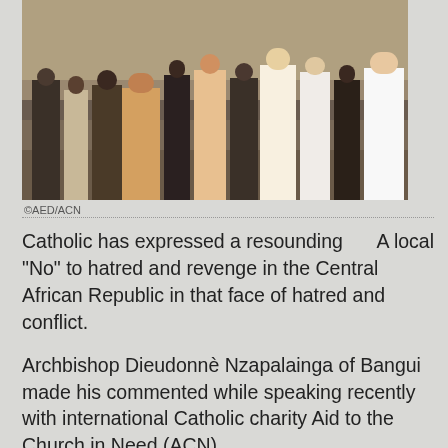[Figure (photo): Group photo of people standing together outdoors, including clergy and laypeople in the Central African Republic]
©AED/ACN
A local Catholic has expressed a resounding “No” to hatred and revenge in the Central African Republic in that face of hatred and conflict.
Archbishop Dieudonnè Nzapalainga of Bangui made his commented while speaking recently with international Catholic charity Aid to the Church in Need (ACN).
In the interview, the archbishop lamented that the Central African Republic hatred had “entered the veins of the people” and he seconded the warnings of the United Nations about the threat of an impending